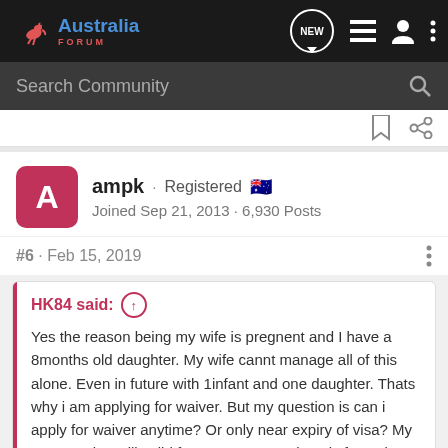Australia Forum
Search Community
ampk · Registered 🇦🇺
Joined Sep 21, 2013 · 6,930 Posts
#6 · Feb 15, 2019
HK84 said: Yes the reason being my wife is pregnent and I have a 8months old daughter. My wife cannt manage all of this alone. Even in future with 1infant and one daughter. Thats why i am applying for waiver. But my question is can i apply for waiver anytime? Or only near expiry of visa? My parents visa still valid for one year. Can i apply for waiver now?
Your wife does not register with one child...